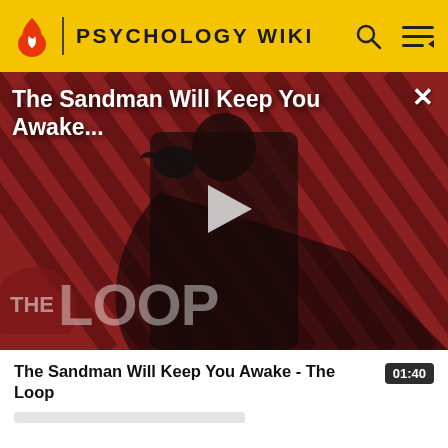PSYCHOLOGY WIKI
[Figure (screenshot): Video thumbnail for 'The Sandman Will Keep You Awake - The Loop' showing a dark figure holding a raven against a red diagonal striped background, with THE LOOP watermark and a play button overlay]
The Sandman Will Keep You Awake - The Loop  01:40
Cultural universals are the key elements shared by all groups of people throughout the history of humanity.